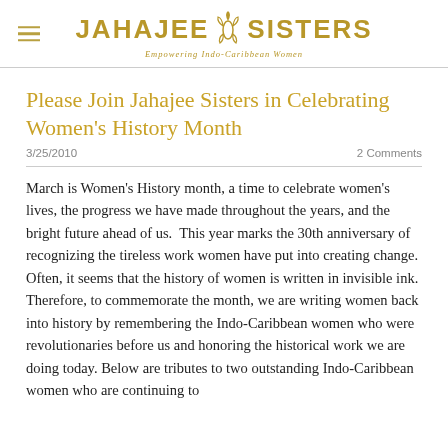JAHAJEE SISTERS — Empowering Indo-Caribbean Women
Please Join Jahajee Sisters in Celebrating Women's History Month
3/25/2010   2 Comments
March is Women's History month, a time to celebrate women's lives, the progress we have made throughout the years, and the bright future ahead of us.  This year marks the 30th anniversary of recognizing the tireless work women have put into creating change. Often, it seems that the history of women is written in invisible ink. Therefore, to commemorate the month, we are writing women back into history by remembering the Indo-Caribbean women who were revolutionaries before us and honoring the historical work we are doing today. Below are tributes to two outstanding Indo-Caribbean women who are continuing to